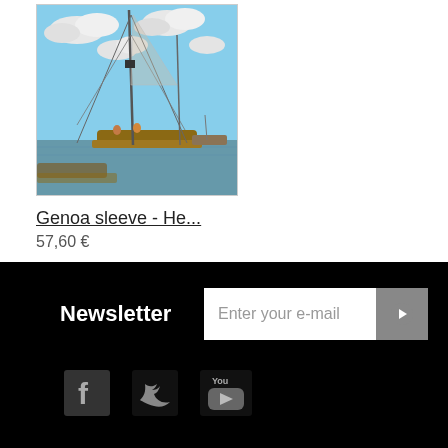[Figure (photo): Sailing boat with tall mast and rigging, docked at a marina with blue sky and clouds in background]
Genoa sleeve - He...
57,60 €
Newsletter
Enter your e-mail
[Figure (logo): Facebook icon - white 'f' on dark background]
[Figure (logo): Twitter bird icon on dark background]
[Figure (logo): YouTube logo on dark background]